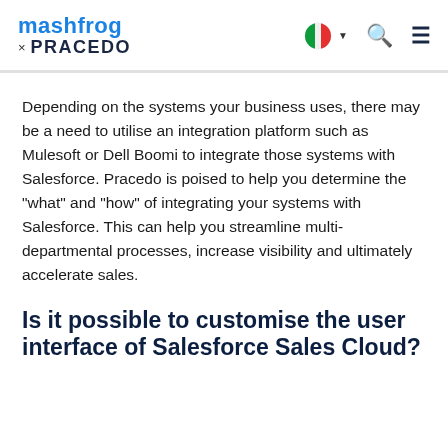mashfrog × PRACEDO
Depending on the systems your business uses, there may be a need to utilise an integration platform such as Mulesoft or Dell Boomi to integrate those systems with Salesforce. Pracedo is poised to help you determine the "what" and "how" of integrating your systems with Salesforce. This can help you streamline multi-departmental processes, increase visibility and ultimately accelerate sales.
Is it possible to customise the user interface of Salesforce Sales Cloud?